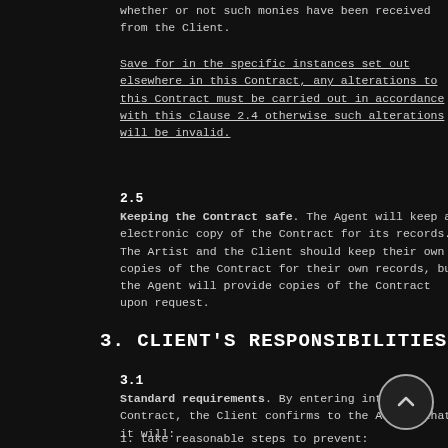whether or not such monies have been received from the Client.
Save for in the specific instances set out elsewhere in this Contract, any alterations to this Contract must be carried out in accordance with this clause 2.4 otherwise such alterations will be invalid.
2.5
Keeping the Contract safe. The Agent will keep an electronic copy of the Contract for its records. The Artist and the Client should keep their own copies of the Contract for their own records, but the Agent will provide copies of the Contract upon request.
3. CLIENT'S RESPONSIBILITIES
3.1
Standard requirements. By entering into the Contract, the Client confirms to the Artist that it will:
1. take reasonable steps to prevent: i) the use of the Artist's equipment and instruments by other performers or persons without the consent of the Artist;